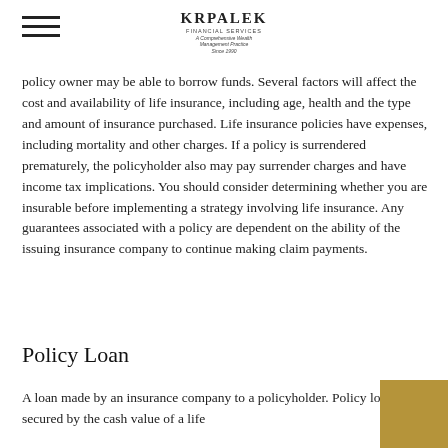KRPALEK FINANCIAL SERVICES A Comprehensive Wealth Management Practice Since 1990
policy owner may be able to borrow funds. Several factors will affect the cost and availability of life insurance, including age, health and the type and amount of insurance purchased. Life insurance policies have expenses, including mortality and other charges. If a policy is surrendered prematurely, the policyholder also may pay surrender charges and have income tax implications. You should consider determining whether you are insurable before implementing a strategy involving life insurance. Any guarantees associated with a policy are dependent on the ability of the issuing insurance company to continue making claim payments.
Policy Loan
A loan made by an insurance company to a policyholder. Policy loans are secured by the cash value of a life